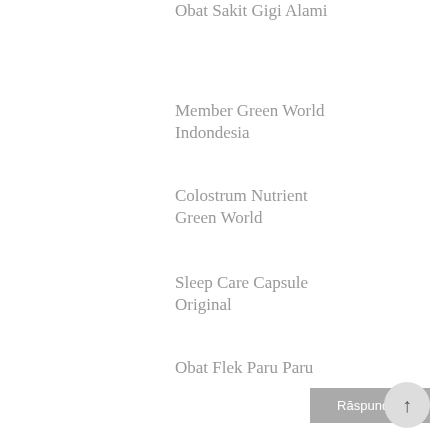Obat Sakit Gigi Alami
Member Green World Indondesia
Colostrum Nutrient Green World
Sleep Care Capsule Original
Obat Flek Paru Paru
Răspundeți